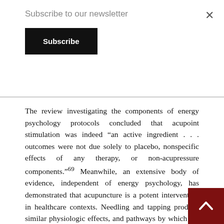Subscribe to our newsletter
Subscribe
The review investigating the components of energy psychology protocols concluded that acupoint stimulation was indeed “an active ingredient . . . outcomes were not due solely to placebo, nonspecific effects of any therapy, or non-acupressure components.”⁶⁹ Meanwhile, an extensive body of evidence, independent of energy psychology, has demonstrated that acupuncture is a potent intervention in healthcare contexts. Needling and tapping produce similar physiologic effects, and pathways by which the electrical signals generated by stimulating acupoints on various areas of the body are conducted to the brain have been found in the body’s connective tissue. This mapping of the physiology underlying the ways in which acupoint tapping appears to influence neural processes, along with the 6 active-ingredient studies, lends support to Premise 5.